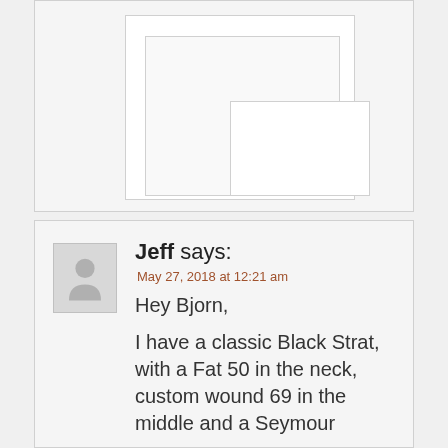[Figure (screenshot): Placeholder image frames stacked on top of each other showing nested rectangles]
Jeff says:
May 27, 2018 at 12:21 am
Hey Bjorn,

I have a classic Black Strat, with a Fat 50 in the neck, custom wound 69 in the middle and a Seymour